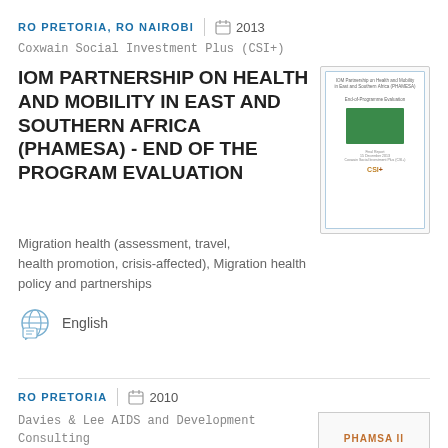RO PRETORIA, RO NAIROBI | 2013
Coxwain Social Investment Plus (CSI+)
IOM PARTNERSHIP ON HEALTH AND MOBILITY IN EAST AND SOUTHERN AFRICA (PHAMESA) - END OF THE PROGRAM EVALUATION
[Figure (illustration): Thumbnail of a document cover page for IOM Partnership on Health and Mobility in East and Southern Africa (PHAMESA) End-of-Programme Evaluation, showing a green fabric image and CSI+ logo.]
Migration health (assessment, travel, health promotion, crisis-affected), Migration health policy and partnerships
English
RO PRETORIA | 2010
Davies & Lee AIDS and Development Consulting
[Figure (illustration): Thumbnail placeholder for PHAMSA II document, showing text PHAMSA II]